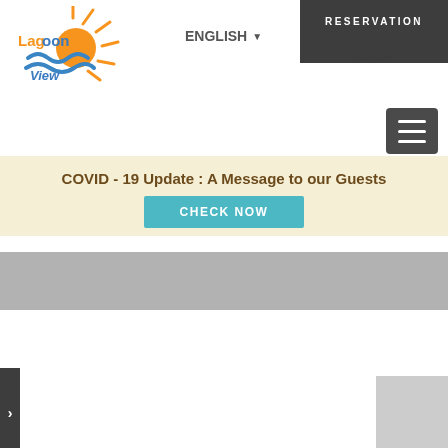[Figure (logo): Lagoon View hotel logo with orange sun and blue wave]
ENGLISH ▼
RESERVATION
[Figure (other): Hamburger menu button (three horizontal lines)]
COVID - 19 Update : A Message to our Guests
CHECK NOW
[Figure (other): Gray slider/carousel placeholder bar]
[Figure (other): Left side dark tab with arrow]
[Figure (other): Bottom right gray image placeholder]